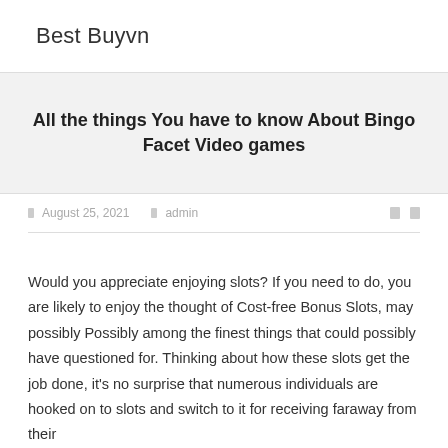Best Buyvn
All the things You have to know About Bingo Facet Video games
◻ August 25, 2021  ◻ admin
Would you appreciate enjoying slots? If you need to do, you are likely to enjoy the thought of Cost-free Bonus Slots, may possibly Possibly among the finest things that could possibly have questioned for. Thinking about how these slots get the job done, it's no surprise that numerous individuals are hooked on to slots and switch to it for receiving faraway from their